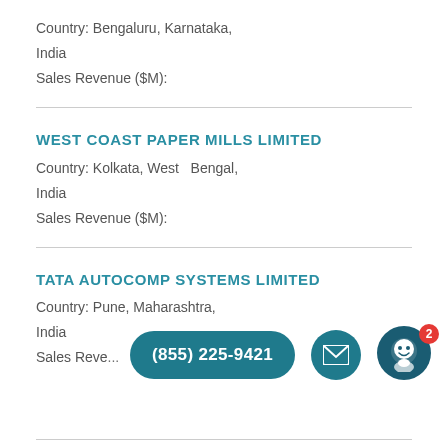Country: Bengaluru, Karnataka, India
Sales Revenue ($M):
WEST COAST PAPER MILLS LIMITED
Country: Kolkata, West  Bengal, India
Sales Revenue ($M):
TATA AUTOCOMP SYSTEMS LIMITED
Country: Pune, Maharashtra, India
Sales Reve...